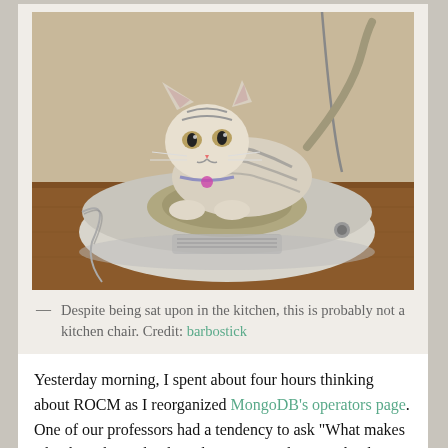[Figure (photo): A tabby and white cat sitting on top of a Roomba robot vacuum cleaner on a wooden floor, near a wall. The cat has a pink collar tag and is looking at the camera.]
— Despite being sat upon in the kitchen, this is probably not a kitchen chair. Credit: barbostick
Yesterday morning, I spent about four hours thinking about ROCM as I reorganized MongoDB's operators page. One of our professors had a tendency to ask "What makes a kitchen chair a kitchen chair? Is any chair in a kitchen a kitchen chair? Is anything you sit on? If you sat on your dog while he's in the kitchen, is he a kitchen